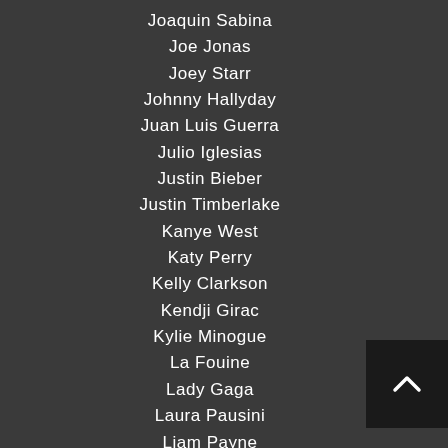Joaquin Sabina
Joe Jonas
Joey Starr
Johnny Hallyday
Juan Luis Guerra
Julio Iglesias
Justin Bieber
Justin Timberlake
Kanye West
Katy Perry
Kelly Clarkson
Kendji Girac
Kylie Minogue
La Fouine
Lady Gaga
Laura Pausini
Liam Payne
Lorie
Louane